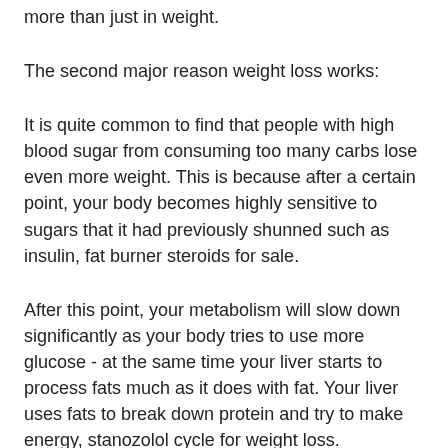more than just in weight.
The second major reason weight loss works:
It is quite common to find that people with high blood sugar from consuming too many carbs lose even more weight. This is because after a certain point, your body becomes highly sensitive to sugars that it had previously shunned such as insulin, fat burner steroids for sale.
After this point, your metabolism will slow down significantly as your body tries to use more glucose - at the same time your liver starts to process fats much as it does with fat. Your liver uses fats to break down protein and try to make energy, stanozolol cycle for weight loss.
This is the mechanism that causes high